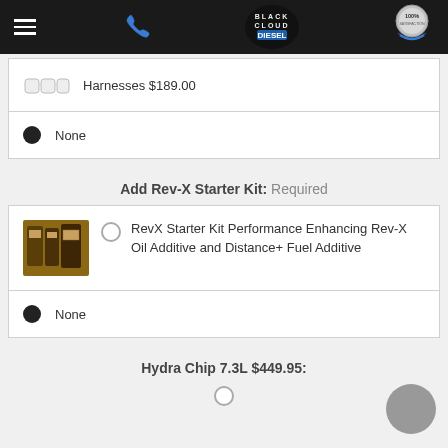Black Cloud Diesel — navigation bar with hamburger menu, phone icon, logo, and 100% badge
Harnesses $189.00
None (selected)
Add Rev-X Starter Kit: Required
RevX Starter Kit Performance Enhancing Rev-X Oil Additive and Distance+ Fuel Additive
None (selected)
Hydra Chip 7.3L $449.95: